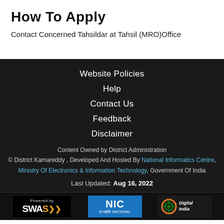How To Apply
Contact Concerned Tahsildar at Tahsil (MRO)Office
Website Policies
Help
Contact Us
Feedback
Disclaimer
Content Owned by District Administration
© District Kamareddy , Developed And Hosted By National Informatics Centre, Ministry Of Electronics & Information Technology, Government Of India
Last Updated: Aug 16, 2022
[Figure (logo): Three logos: Powered by SWAS, NIC National Informatics Centre, Digital India]